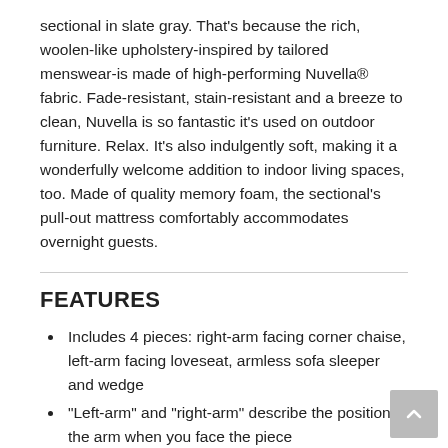sectional in slate gray. That's because the rich, woolen-like upholstery-inspired by tailored menswear-is made of high-performing Nuvella® fabric. Fade-resistant, stain-resistant and a breeze to clean, Nuvella is so fantastic it's used on outdoor furniture. Relax. It's also indulgently soft, making it a wonderfully welcome addition to indoor living spaces, too. Made of quality memory foam, the sectional's pull-out mattress comfortably accommodates overnight guests.
FEATURES
Includes 4 pieces: right-arm facing corner chaise, left-arm facing loveseat, armless sofa sleeper and wedge
"Left-arm" and "right-arm" describe the position of the arm when you face the piece
Corner-blocked frame